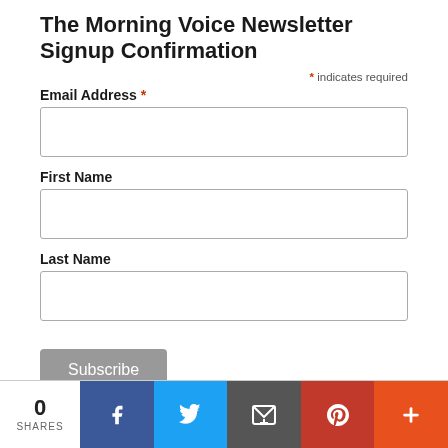The Morning Voice Newsletter Signup Confirmation
* indicates required
Email Address *
First Name
Last Name
Subscribe
0 SHARES | Facebook | Twitter | Email | Pinterest | More